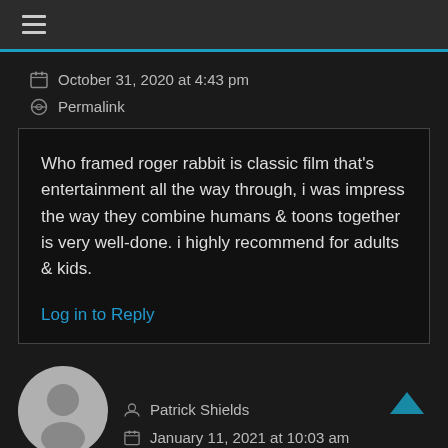☰
October 31, 2020 at 4:43 pm
Permalink
Who framed roger rabbit is classic film that's entertainment all the way through, i was impress the way they combine humans & toons together is very well-done. i highly recommend for adults & kids.
Log in to Reply
[Figure (illustration): Generic user avatar circle with silhouette]
Patrick Shields
January 11, 2021 at 10:03 am